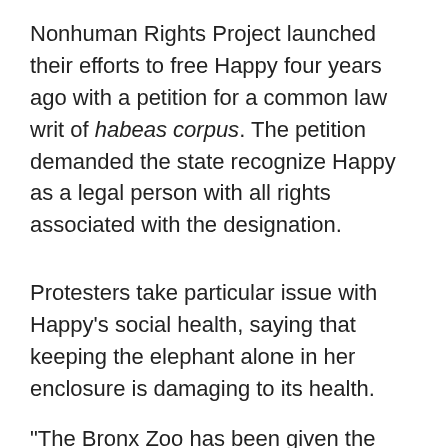Nonhuman Rights Project launched their efforts to free Happy four years ago with a petition for a common law writ of habeas corpus. The petition demanded the state recognize Happy as a legal person with all rights associated with the designation.
Protesters take particular issue with Happy's social health, saying that keeping the elephant alone in her enclosure is damaging to its health.
"The Bronx Zoo has been given the shameful title of the 5th worst zoo for elephants in the country," the NRP continues in an online petition. "The New York Times calls Happy the Bronx Zoo's loneliest elephant. That's because this highly intelligent and social being is